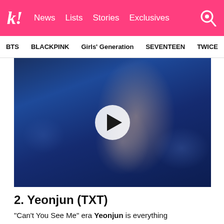k! News  Lists  Stories  Exclusives
BTS  BLACKPINK  Girls' Generation  SEVENTEEN  TWICE
[Figure (photo): Video thumbnail showing Yeonjun from TXT performing on stage in a white shirt against a blue background, with arm raised. A white circular play button is overlaid in the center.]
2. Yeonjun (TXT)
“Can’t You See Me” era Yeonjun is everything